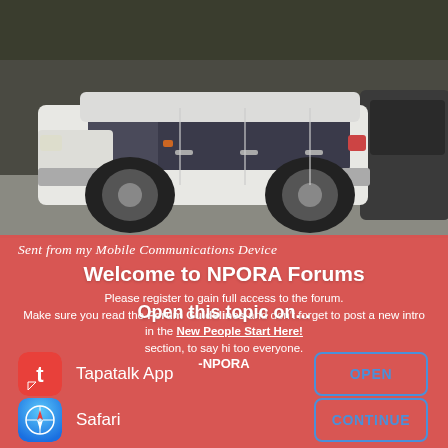[Figure (photo): White Ford Excursion SUV parked in a driveway with trees in the background, photographed from the side. Another dark vehicle is partially visible on the right.]
Sent from my Mobile Communications Device
Welcome to NPORA Forums
Please register to gain full access to the forum. Make sure you read the Forum Guidelines and don't forget to post a new intro in the New People Start Here! section, to say hi too everyone.
-NPORA
Open this topic on...
Tapatalk App
OPEN
Safari
CONTINUE